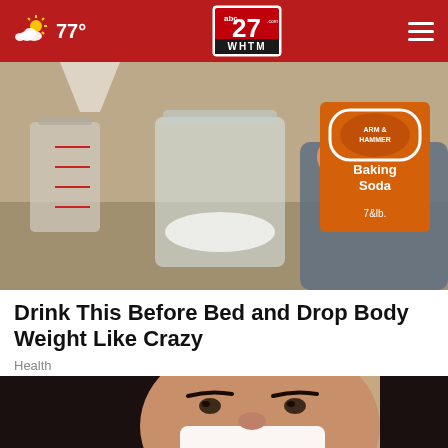77° — abc27 WHTM
[Figure (photo): Person pouring Arm & Hammer Baking Soda into a glass jar, with a measuring cup visible on the left]
Drink This Before Bed and Drop Body Weight Like Crazy
Health
[Figure (photo): Close-up of a young woman with dark hair looking downward, partially covering her lower face]